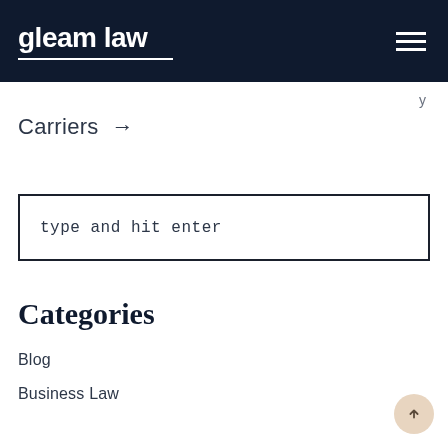gleam law
Carriers →
type and hit enter
Categories
Blog
Business Law